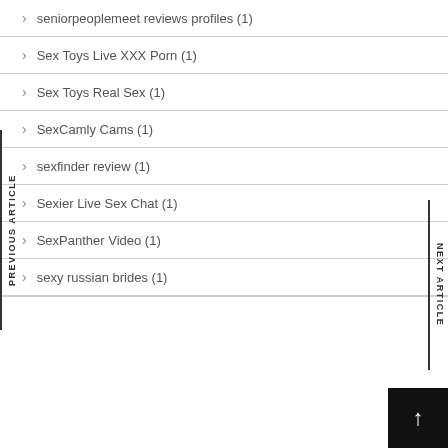seniorpeoplemeet reviews profiles (1)
Sex Toys Live XXX Porn (1)
Sex Toys Real Sex (1)
SexCamly Cams (1)
sexfinder review (1)
Sexier Live Sex Chat (1)
SexPanther Video (1)
sexy russian brides (1)